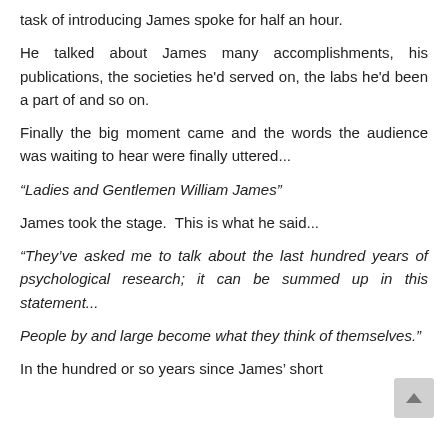task of introducing James spoke for half an hour.
He talked about James many accomplishments, his publications, the societies he'd served on, the labs he'd been a part of and so on.
Finally the big moment came and the words the audience was waiting to hear were finally uttered...
“Ladies and Gentlemen William James”
James took the stage. This is what he said...
“They’ve asked me to talk about the last hundred years of psychological research; it can be summed up in this statement...
People by and large become what they think of themselves.”
In the hundred or so years since James’ short